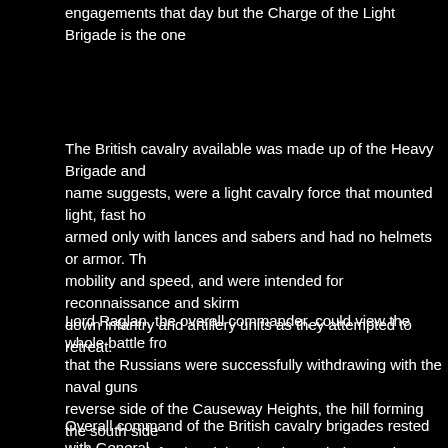engagements that day but the Charge of the Light Brigade is the one
The British cavalry available was made up of the Heavy Brigade and name suggests, were a light cavalry force that mounted light, fast ho armed only with lances and sabers and had no helmets or armor. Th mobility and speed, and were intended for reconnaissance and skirm down infantry and artillery units as they attempted to retreat.
Lord Raglan, the overall commander, could view the whole battle fro that the Russians were successfully withdrawing with the naval guns reverse side of the Causeway Heights, the hill forming the south side optimum task for the Light Brigade, as their superior speed would en quickly abandon the cumbersome guns or be cut down en masse wh
Overall command of the British cavalry brigades rested with General Light Brigade was under General James Brudenell, 7th Earl of Cardi law who disliked each other intensely. Lucan received a written orde wishes the cavalry to advance rapidly to the front, follow the enemy,